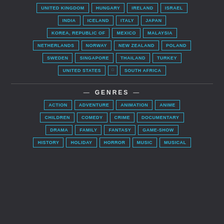UNITED KINGDOM, HUNGARY, IRELAND, ISRAEL
INDIA, ICELAND, ITALY, JAPAN
KOREA, REPUBLIC OF, MEXICO, MALAYSIA
NETHERLANDS, NORWAY, NEW ZEALAND, POLAND
SWEDEN, SINGAPORE, THAILAND, TURKEY
UNITED STATES, SOUTH AFRICA
GENRES
ACTION, ADVENTURE, ANIMATION, ANIME
CHILDREN, COMEDY, CRIME, DOCUMENTARY
DRAMA, FAMILY, FANTASY, GAME-SHOW
HISTORY, HOLIDAY, HORROR, MUSIC, MUSICAL